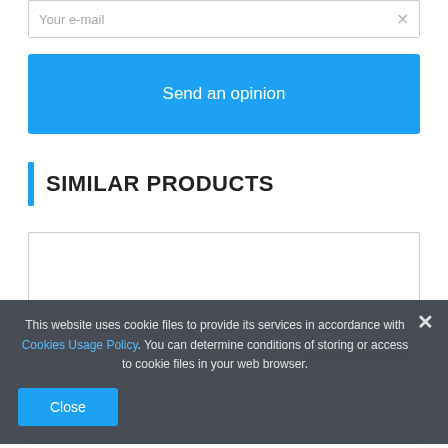Your e-mail
Send an opinion
SIMILAR PRODUCTS
[Figure (screenshot): Loading spinners inside a similar products box, two spinning loader icons visible on white background]
This website uses cookie files to provide its services in accordance with Cookies Usage Policy. You can determine conditions of storing or access to cookie files in your web browser.
Close